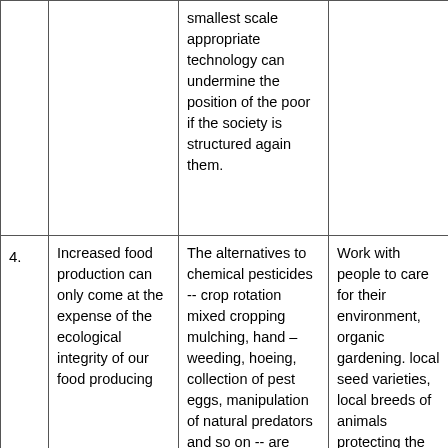|  |  | smallest scale appropriate technology can undermine the position of the poor if the society is structured again them. |  |
| 4. | Increased food production can only come at the expense of the ecological integrity of our food producing | The alternatives to chemical pesticides -- crop rotation mixed cropping mulching, hand – weeding, hoeing, collection of pest eggs, manipulation of natural predators and so on -- are numerous and proven effective. | Work with people to care for their environment, organic gardening. local seed varieties, local breeds of animals protecting the forests, cleaning |